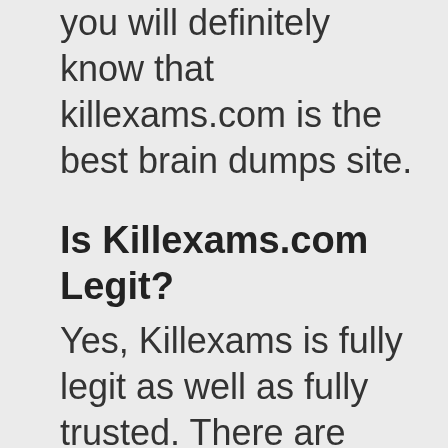you will definitely know that killexams.com is the best brain dumps site.
Is Killexams.com Legit?
Yes, Killexams is fully legit as well as fully trusted. There are several functions that make killexams...